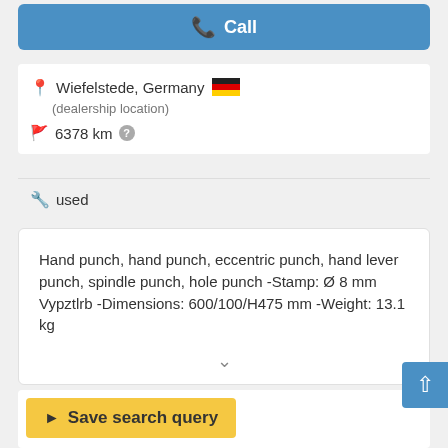Call
Wiefelstede, Germany
(dealership location)
6378 km
used
Hand punch, hand punch, eccentric punch, hand lever punch, spindle punch, hole punch -Stamp: Ø 8 mm Vypztlrb -Dimensions: 600/100/H475 mm -Weight: 13.1 kg
Save search query